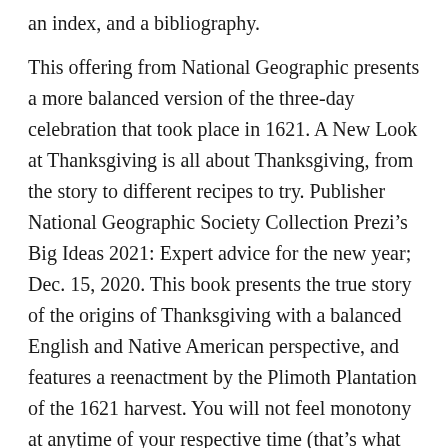an index, and a bibliography.
This offering from National Geographic presents a more balanced version of the three-day celebration that took place in 1621. A New Look at Thanksgiving is all about Thanksgiving, from the story to different recipes to try. Publisher National Geographic Society Collection Prezi's Big Ideas 2021: Expert advice for the new year; Dec. 15, 2020. This book presents the true story of the origins of Thanksgiving with a balanced English and Native American perspective, and features a reenactment by the Plimoth Plantation of the 1621 harvest. You will not feel monotony at anytime of your respective time (that's what Enjoy the videos and music you love, upload original content, and share it all with friends, family, and the world on YouTube. Find in catalog Ship This Item — Qualifies for Free